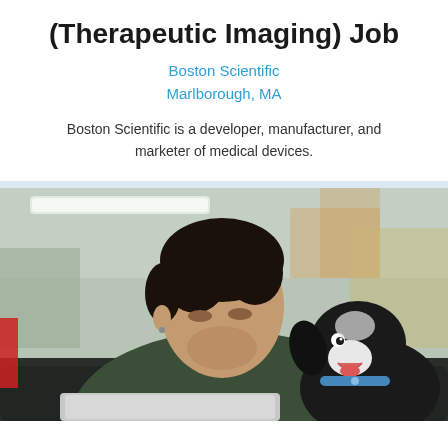(Therapeutic Imaging) Job
Boston Scientific
Marlborough, MA
Boston Scientific is a developer, manufacturer, and marketer of medical devices.
[Figure (photo): A man in a dark green sweater sitting at a laptop, looking at a black and white dog beside him in an office environment.]